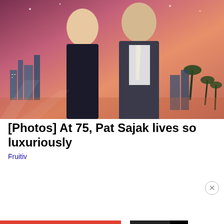[Figure (photo): Promotional photo of two TV personalities (a blonde woman and a man in a suit with a gold tie) posed together against a stylized cityscape and sunset background with palm trees and skyline.]
[Photos] At 75, Pat Sajak lives so luxuriously
Fruitiv
Privacy & Cookies: This site uses cookies. By continuing to use this website, you agree to their use.
To find out more, including how to control cookies, see here: Cookie Policy
Close and accept